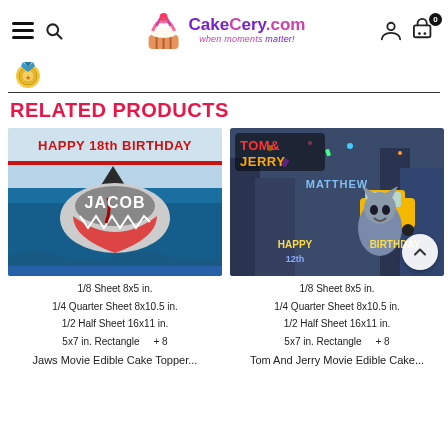CakeLery.com - when moments matter!
[Figure (logo): CakeLery.com logo with cupcake icon and tagline 'when moments matter!']
[Figure (illustration): Medal/badge icon in yellow and teal]
RELATED PRODUCTS
[Figure (photo): Jaws movie themed edible cake topper with text HAPPY 18th BIRTHDAY and JACOB]
1/8 Sheet 8x5 in.
1/4 Quarter Sheet 8x10.5 in.
1/2 Half Sheet 16x11 in.
5x7 in. Rectangle    + 8
Jaws Movie Edible Cake Topper...
[Figure (photo): Tom and Jerry movie themed edible cake topper with text HAPPY 12th BIRTHDAY and MATTHEW]
1/8 Sheet 8x5 in.
1/4 Quarter Sheet 8x10.5 in.
1/2 Half Sheet 16x11 in.
5x7 in. Rectangle    + 8
Tom And Jerry Movie Edible Cake...